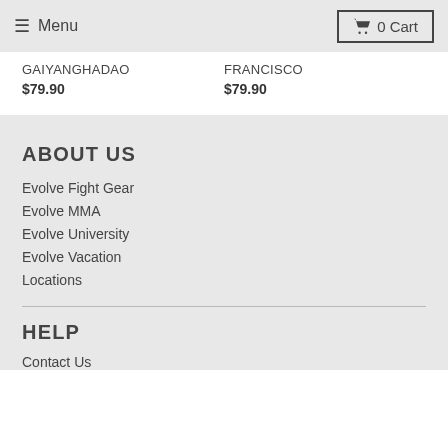≡ Menu | 🛒 0 Cart
GAIYANGHADAO
$79.90
FRANCISCO
$79.90
ABOUT US
Evolve Fight Gear
Evolve MMA
Evolve University
Evolve Vacation
Locations
HELP
Contact Us